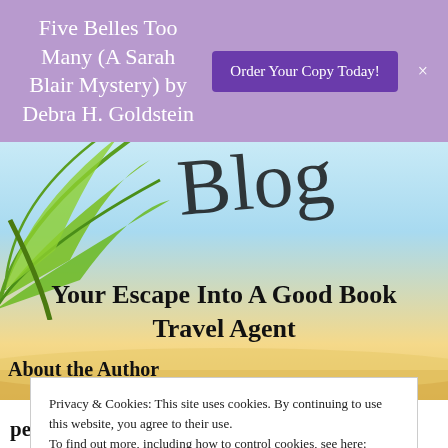Five Belles Too Many (A Sarah Blair Mystery) by Debra H. Goldstein  Order Your Copy Today!  ×
[Figure (illustration): Tropical beach scene with green palm leaves on the left and a cursive script text in the center, with a sky-blue and sandy beach background]
Your Escape Into A Good Book Travel Agent
About the Author
Privacy & Cookies: This site uses cookies. By continuing to use this website, you agree to their use.
To find out more, including how to control cookies, see here:
Cookie Policy

Close and accept
perhaps some later than others. I live in